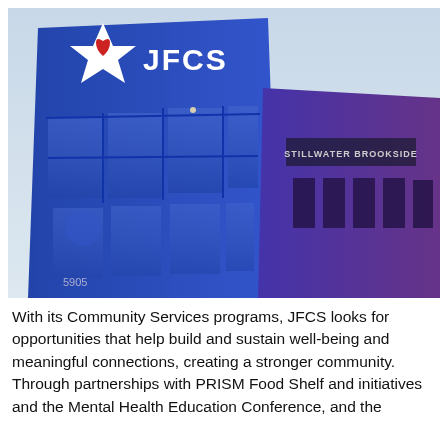[Figure (photo): Exterior photograph of JFCS building. A modern two-story building with blue facade and large glass windows. A large white star logo with a red heart and the letters 'JFCS' in white is mounted on the upper left of the building. A sign reading 'STILLWATER BROOKSIDE' is visible on the right section of the building. The address '5905' is partially visible at the lower left. Sky is light blue/white in the background.]
With its Community Services programs, JFCS looks for opportunities that help build and sustain well-being and meaningful connections, creating a stronger community. Through partnerships with PRISM Food Shelf and initiatives and the Mental Health Education Conference, and the